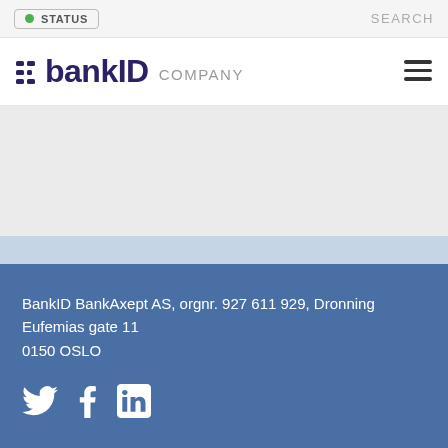STATUS | SEARCH
[Figure (logo): BankID COMPANY logo with hamburger menu icon]
BankID BankAxept AS, orgnr. 927 611 929, Dronning Eufemias gate 11
0150 OSLO
[Figure (other): Social media icons: Twitter, Facebook, LinkedIn]